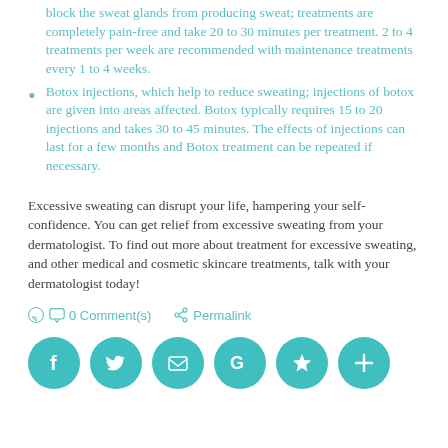block the sweat glands from producing sweat; treatments are completely pain-free and take 20 to 30 minutes per treatment. 2 to 4 treatments per week are recommended with maintenance treatments every 1 to 4 weeks.
Botox injections, which help to reduce sweating; injections of botox are given into areas affected. Botox typically requires 15 to 20 injections and takes 30 to 45 minutes. The effects of injections can last for a few months and Botox treatment can be repeated if necessary.
Excessive sweating can disrupt your life, hampering your self-confidence. You can get relief from excessive sweating from your dermatologist. To find out more about treatment for excessive sweating, and other medical and cosmetic skincare treatments, talk with your dermatologist today!
0 Comment(s)   Permalink